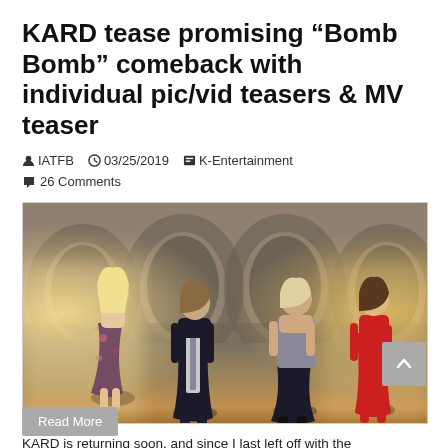KARD tease promising “Bomb Bomb” comeback with individual pic/vid teasers & MV teaser
IATFB  03/25/2019  K-Entertainment  26 Comments
[Figure (photo): Four members of KARD standing in an arched stone hall setting with dramatic lighting. From left: blonde woman in floral dress, man in dark suit, taller man in grey tank top, woman in red outfit.]
KARD is returning soon, and since I last left off with the trailer teaser for “Bomb Bomb”, a ton of stuff has been released. —— Teaser Pictures Teaser Videos Music …